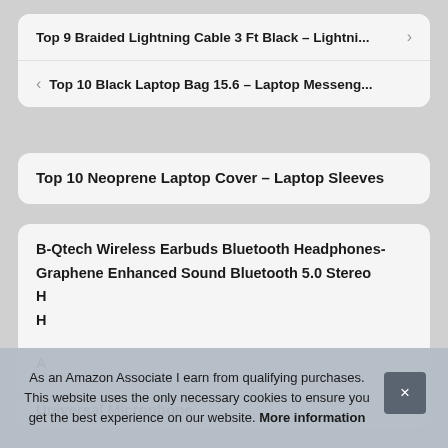Top 9 Braided Lightning Cable 3 Ft Black – Lightni...
< Top 10 Black Laptop Bag 15.6 – Laptop Messeng...
Top 10 Neoprene Laptop Cover – Laptop Sleeves
B-Qtech Wireless Earbuds Bluetooth Headphones- Graphene Enhanced Sound Bluetooth 5.0 Stereo
A
Universal Microphone
As an Amazon Associate I earn from qualifying purchases. This website uses the only necessary cookies to ensure you get the best experience on our website. More information